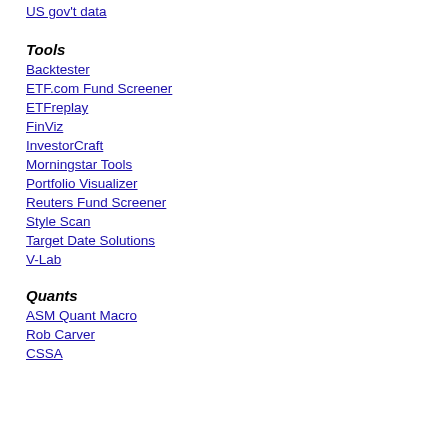US gov't data
Tools
Backtester
ETF.com Fund Screener
ETFreplay
FinViz
InvestorCraft
Morningstar Tools
Portfolio Visualizer
Reuters Fund Screener
Style Scan
Target Date Solutions
V-Lab
Quants
ASM Quant Macro
Rob Carver
CSSA